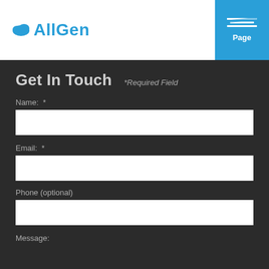[Figure (logo): AllGen logo with blue speech bubble cloud icon and blue text 'AllGen']
[Figure (other): Blue 'Select Page' button in top right corner with three horizontal lines and strikethrough on top line]
Get In Touch
*Required Field
Name:  *
Email:  *
Phone (optional)
Message: